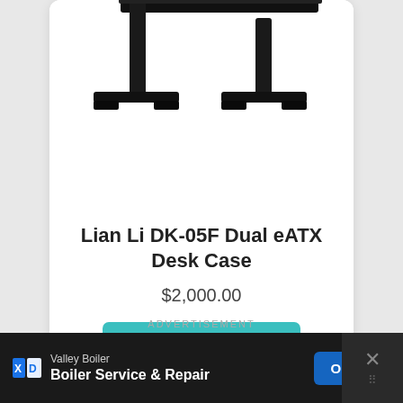[Figure (photo): Product photo of Lian Li DK-05F Dual eATX Desk Case, showing black metal desk frame structure with two T-shaped legs and horizontal support bars, viewed from a slightly elevated angle against white background.]
Lian Li DK-05F Dual eATX Desk Case
$2,000.00
View on Newegg
ADVERTISEMENT
Valley Boiler
Boiler Service & Repair
OPEN